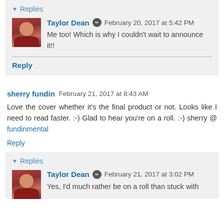Replies
Taylor Dean  February 20, 2017 at 5:42 PM
Me too! Which is why I couldn't wait to announce it!!
Reply
sherry fundin  February 21, 2017 at 8:43 AM
Love the cover whether it's the final product or not. Looks like I need to read faster. :-) Glad to hear you're on a roll. :-) sherry @ fundinmental
Reply
Replies
Taylor Dean  February 21, 2017 at 3:02 PM
Yes, I'd much rather be on a roll than stuck with